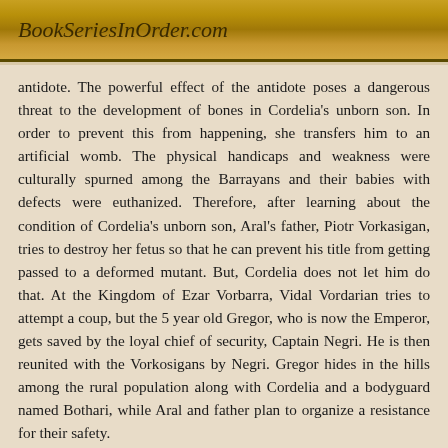BookSeriesInOrder.com
antidote. The powerful effect of the antidote poses a dangerous threat to the development of bones in Cordelia's unborn son. In order to prevent this from happening, she transfers him to an artificial womb. The physical handicaps and weakness were culturally spurned among the Barrayans and their babies with defects were euthanized. Therefore, after learning about the condition of Cordelia's unborn son, Aral's father, Piotr Vorkasigan, tries to destroy her fetus so that he can prevent his title from getting passed to a deformed mutant. But, Cordelia does not let him do that. At the Kingdom of Ezar Vorbarra, Vidal Vordarian tries to attempt a coup, but the 5 year old Gregor, who is now the Emperor, gets saved by the loyal chief of security, Captain Negri. He is then reunited with the Vorkosigans by Negri. Gregor hides in the hills among the rural population along with Cordelia and a bodyguard named Bothari, while Aral and father plan to organize a resistance for their safety.